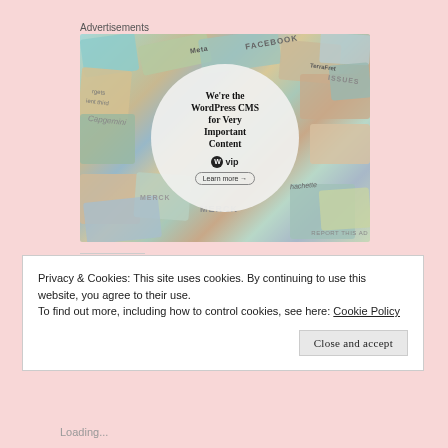Advertisements
[Figure (illustration): WordPress VIP advertisement showing a collage of brand logos (Meta, Facebook, Merck, Salesforce, hachette, TerraRest, Capgemini) in pastel colored tiles in the background, with a central white circle containing the text 'We’re the WordPress CMS for Very Important Content', the WordPress VIP logo, and a 'Learn more →' button.]
REPORT THIS AD
Privacy & Cookies: This site uses cookies. By continuing to use this website, you agree to their use.
To find out more, including how to control cookies, see here: Cookie Policy
Close and accept
Loading...